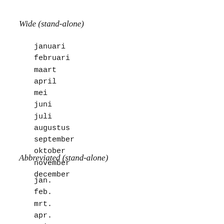Wide (stand-alone)
januari
februari
maart
april
mei
juni
juli
augustus
september
oktober
november
december
Abbreviated (stand-alone)
jan.
feb.
mrt.
apr.
mei.